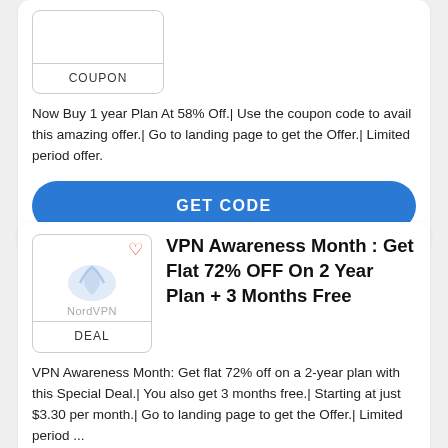[Figure (other): Coupon box with label COUPON]
Now Buy 1 year Plan At 58% Off.| Use the coupon code to avail this amazing offer.| Go to landing page to get the Offer.| Limited period offer.
GET CODE
[Figure (logo): NordVPN logo with heart icon and DEAL label]
VPN Awareness Month : Get Flat 72% OFF On 2 Year Plan + 3 Months Free
VPN Awareness Month: Get flat 72% off on a 2-year plan with this Special Deal.| You also get 3 months free.| Starting at just $3.30 per month.| Go to landing page to get the Offer.| Limited period ...
AVAIL NOW